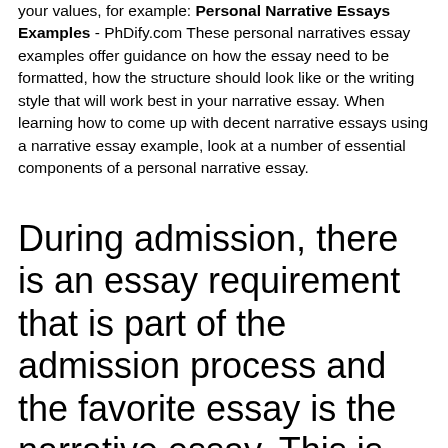your values, for example: Personal Narrative Essays Examples - PhDify.com These personal narratives essay examples offer guidance on how the essay need to be formatted, how the structure should look like or the writing style that will work best in your narrative essay. When learning how to come up with decent narrative essays using a narrative essay example, look at a number of essential components of a personal narrative essay.
During admission, there is an essay requirement that is part of the admission process and the favorite essay is the narrative essay. This is because the narrative essay is of a personal nature. The admission personnel is